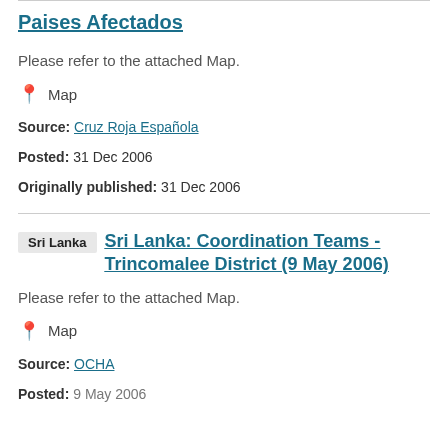Paises Afectados
Please refer to the attached Map.
Map
Source: Cruz Roja Española
Posted: 31 Dec 2006
Originally published: 31 Dec 2006
Sri Lanka: Coordination Teams - Trincomalee District (9 May 2006)
Please refer to the attached Map.
Map
Source: OCHA
Posted: 9 May 2006